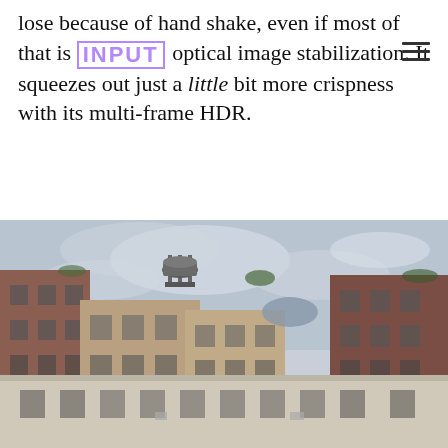lose because of hand shake, even if most of that is handled by optical image stabilization. It squeezes out just a little bit more crispness with its multi-frame HDR.
[Figure (photo): Photograph of urban apartment buildings in New York City, taken from a low angle looking upward. Multiple brick buildings of varying heights are visible, including a water tower on one rooftop. The sky is overcast and cloudy. Buildings show classic pre-war New York architecture with rows of rectangular windows.]